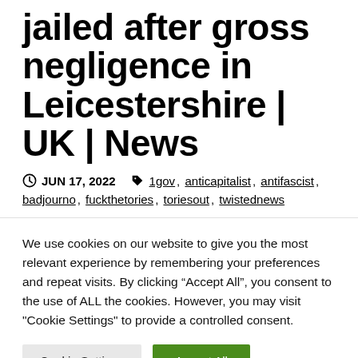jailed after gross negligence in Leicestershire | UK | News
JUN 17, 2022   1gov, anticapitalist, antifascist, badjourno, fuckthetories, toriesout, twistednews
We use cookies on our website to give you the most relevant experience by remembering your preferences and repeat visits. By clicking “Accept All”, you consent to the use of ALL the cookies. However, you may visit "Cookie Settings" to provide a controlled consent.